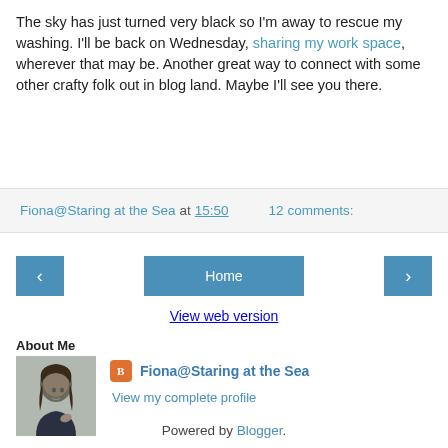The sky has just turned very black so I'm away to rescue my washing. I'll be back on Wednesday, sharing my work space, wherever that may be. Another great way to connect with some other crafty folk out in blog land. Maybe I'll see you there.
Fiona@Staring at the Sea at 15:50   12 comments:
‹   Home   ›
View web version
About Me
[Figure (photo): Profile photo of Fiona, a woman with long dark hair wearing a dark top]
Fiona@Staring at the Sea
View my complete profile
Powered by Blogger.